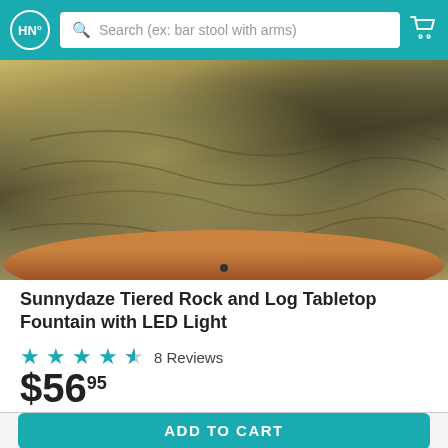HN° Search (ex: bar stool with arms)
[Figure (photo): Close-up photo of a Sunnydaze Tiered Rock and Log Tabletop Fountain with metallic gold and dark stone texture, sitting on a round wooden table surface. A single dot image indicator is visible at the bottom of the photo.]
Sunnydaze Tiered Rock and Log Tabletop Fountain with LED Light
★★★★½ 8 Reviews
$56.95
ADD TO CART